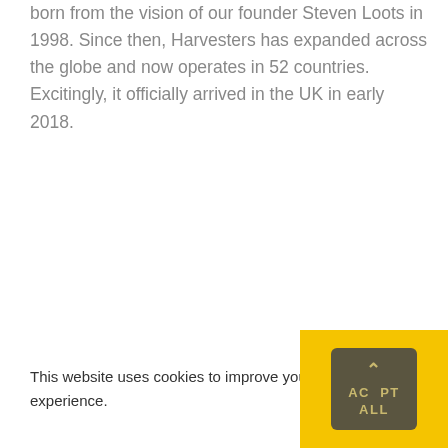born from the vision of our founder Steven Loots in 1998. Since then, Harvesters has expanded across the globe and now operates in 52 countries. Excitingly, it officially arrived in the UK in early 2018.
This website uses cookies to improve your experience.